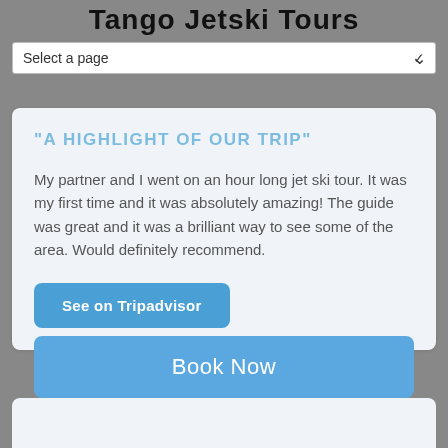Tango Jetski Tours
Select a page
"A HIGHLIGHT OF OUR TRIP"
My partner and I went on an hour long jet ski tour. It was my first time and it was absolutely amazing! The guide was great and it was a brilliant way to see some of the area. Would definitely recommend.
See on Tripadvisor
Book Now